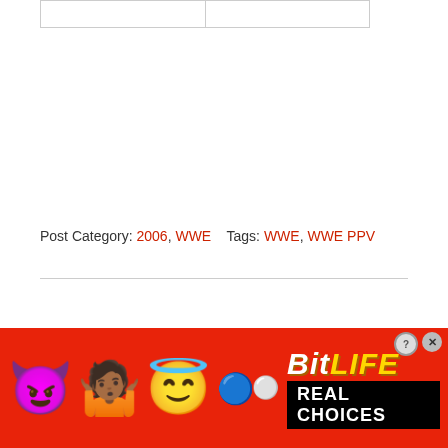|  |  |
Post Category: 2006, WWE    Tags: WWE, WWE PPV
RELATED POSTS
Money in The Bank
[Figure (photo): BitLife mobile game advertisement banner with emoji characters (devil, person, angel, sperm) on red background with 'BitLife REAL CHOICES' text]